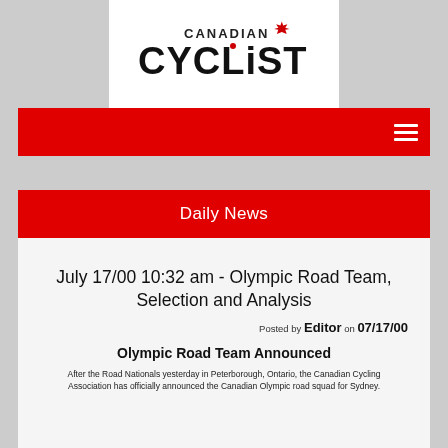[Figure (logo): Canadian Cyclist logo with red maple leaf and bold black text]
Navigation bar with hamburger menu icon
Daily News
July 17/00 10:32 am - Olympic Road Team, Selection and Analysis
Posted by Editor on 07/17/00
Olympic Road Team Announced
After the Road Nationals yesterday in Peterborough, Ontario, the Canadian Cycling Association has officially announced the Canadian Olympic road squad for Sydney.